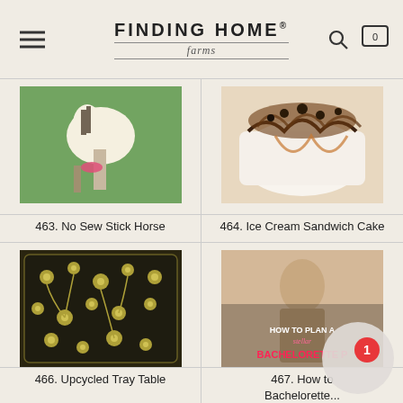FINDING HOME farms
[Figure (photo): Stuffed sock horse toy with pink ribbon, outdoors]
463. No Sew Stick Horse
[Figure (photo): Ice cream sandwich cake with chocolate drizzle]
464. Ice Cream Sandwich Cake
[Figure (photo): Dark floral tray with yellow flowers pattern]
466. Upcycled Tray Table
[Figure (photo): Bachelorette party planning graphic with woman]
467. How to Plan a Bachelorette...
[Figure (photo): Bottom partial row showing craft items]
[Figure (photo): Bottom partial row showing clothing item]